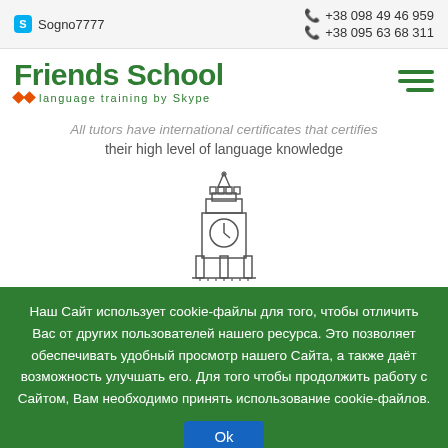Sogno7777  +38 098 49 46 959  +38 095 63 68 311
Friends School — language training by Skype
All tutors have international certificates that certifies their high level of language knowledge
[Figure (illustration): Line drawing icon of Big Ben clock tower]
Наш Сайт использует cookie-файлы для того, чтобы отличить Вас от других пользователей нашего ресурса. Это позволяет обеспечивать удобный просмотр нашего Сайта, а также даёт возможность улучшать его. Для того чтобы продолжить работу с Сайтом, Вам необходимо принять использование cookie-файлов.